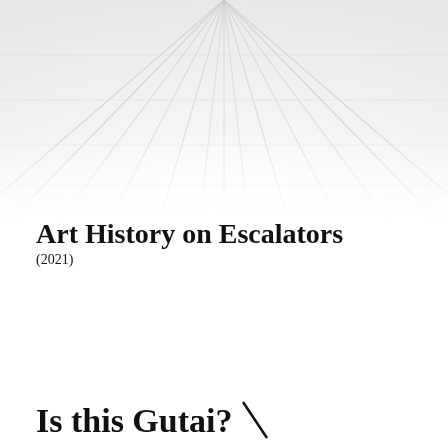[Figure (photo): Background image of escalators viewed from above, showing diagonal lines converging upward, rendered in light gray/white tones]
Art History on Escalators
(2021)
Is this Gutai?